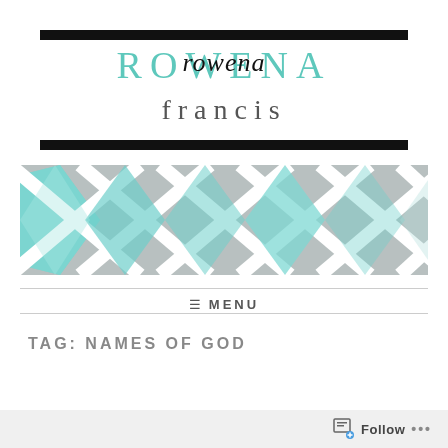[Figure (logo): Rowena Francis blog logo with teal serif ROWENA overlaid with black script 'rowena' and lowercase gray 'francis' below]
[Figure (photo): Hero banner image showing a geometric diamond/lattice pattern with teal, white, and gray colors]
≡ MENU
TAG: NAMES OF GOD
Follow ...